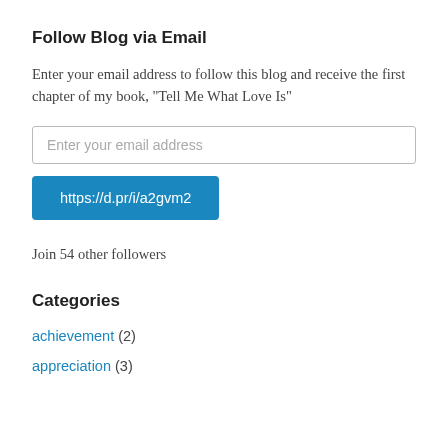Follow Blog via Email
Enter your email address to follow this blog and receive the first chapter of my book, "Tell Me What Love Is"
[Figure (screenshot): Email input field with placeholder text 'Enter your email address' and a blue button labeled 'https://d.pr/i/a2gvm2']
Join 54 other followers
Categories
achievement (2)
appreciation (3)